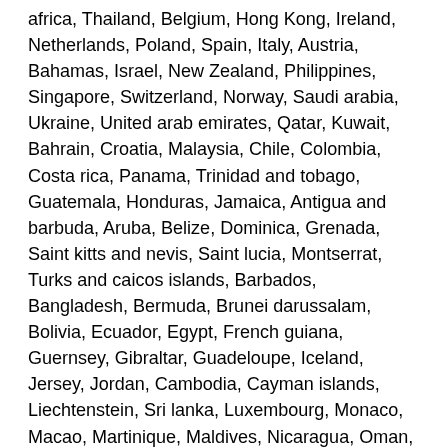africa, Thailand, Belgium, Hong Kong, Ireland, Netherlands, Poland, Spain, Italy, Austria, Bahamas, Israel, New Zealand, Philippines, Singapore, Switzerland, Norway, Saudi arabia, Ukraine, United arab emirates, Qatar, Kuwait, Bahrain, Croatia, Malaysia, Chile, Colombia, Costa rica, Panama, Trinidad and tobago, Guatemala, Honduras, Jamaica, Antigua and barbuda, Aruba, Belize, Dominica, Grenada, Saint kitts and nevis, Saint lucia, Montserrat, Turks and caicos islands, Barbados, Bangladesh, Bermuda, Brunei darussalam, Bolivia, Ecuador, Egypt, French guiana, Guernsey, Gibraltar, Guadeloupe, Iceland, Jersey, Jordan, Cambodia, Cayman islands, Liechtenstein, Sri lanka, Luxembourg, Monaco, Macao, Martinique, Maldives, Nicaragua, Oman, Peru, Pakistan, Paraguay, Reunion, Viet nam, Uruguay.
Features: Hand Painted
Maker: Decorative Crafts
Pattern: Floral
Country/Region of Origin: ChinaUnknown